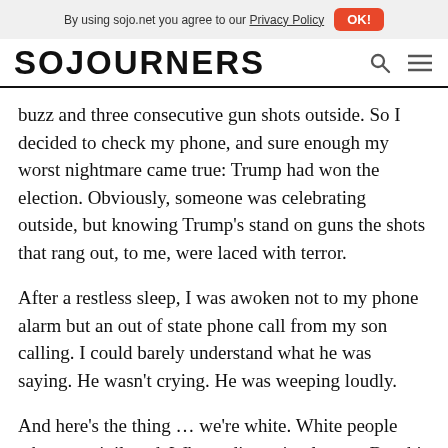By using sojo.net you agree to our Privacy Policy  OK!
SOJOURNERS
buzz and three consecutive gun shots outside. So I decided to check my phone, and sure enough my worst nightmare came true: Trump had won the election. Obviously, someone was celebrating outside, but knowing Trump’s stand on guns the shots that rang out, to me, were laced with terror.
After a restless sleep, I was awoken not to my phone alarm but an out of state phone call from my son calling. I could barely understand what he was saying. He wasn’t crying. He was weeping loudly.
And here’s the thing … we’re white. White people who are privileged. What a disgusting legacy. But this is the very thing that is a direct reflection of Trump’s voter turnout.